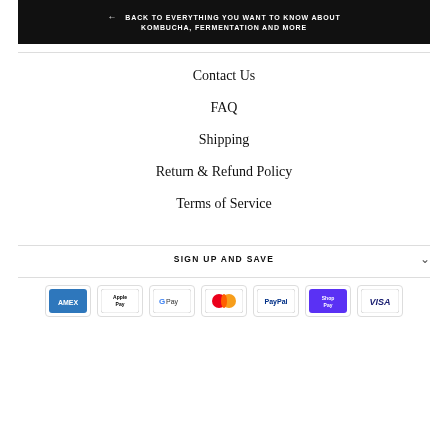← BACK TO EVERYTHING YOU WANT TO KNOW ABOUT KOMBUCHA, FERMENTATION AND MORE
Contact Us
FAQ
Shipping
Return & Refund Policy
Terms of Service
SIGN UP AND SAVE
[Figure (other): Payment method icons: American Express, Apple Pay, Google Pay, Mastercard, PayPal, Shop Pay, Visa]